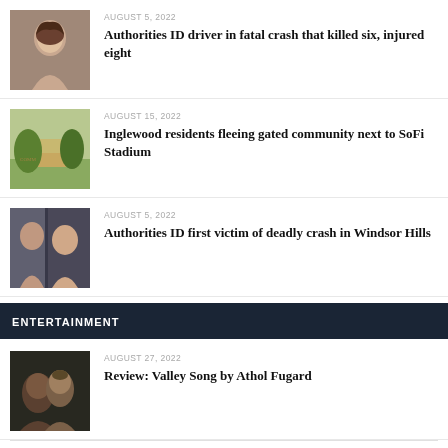[Figure (photo): Portrait photo of a woman]
AUGUST 5, 2022
Authorities ID driver in fatal crash that killed six, injured eight
[Figure (photo): Sign for a gated community with trees]
AUGUST 15, 2022
Inglewood residents fleeing gated community next to SoFi Stadium
[Figure (photo): Two young women photographed together]
AUGUST 5, 2022
Authorities ID first victim of deadly crash in Windsor Hills
ENTERTAINMENT
[Figure (photo): Theater performance scene with two actors]
AUGUST 27, 2022
Review: Valley Song by Athol Fugard